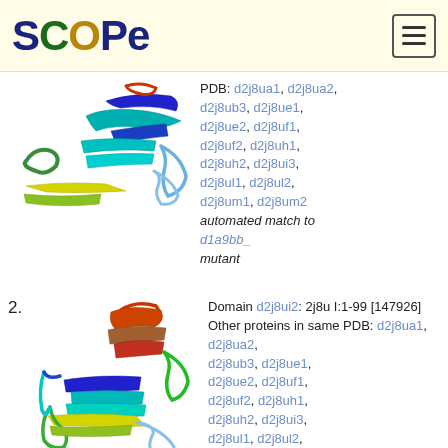SCOPe
[Figure (illustration): Ribbon diagram of protein structure for entry 1, showing colored secondary structure elements (helices, sheets, loops) in rainbow coloring]
PDB: d2j8ua1, d2j8ua2, d2j8ub3, d2j8ue1, d2j8ue2, d2j8uf1, d2j8uf2, d2j8uh1, d2j8uh2, d2j8ui3, d2j8ul1, d2j8ul2, d2j8um1, d2j8um2 automated match to d1a9bb_ mutant
2. Domain d2j8ui2: 2j8u I:1-99 [147926] Other proteins in same PDB: d2j8ua1, d2j8ua2, d2j8ub3, d2j8ue1, d2j8ue2, d2j8uf1, d2j8uf2, d2j8uh1, d2j8uh2, d2j8ui3, d2j8ul1, d2j8ul2, d2j8um1, d2j8um2
[Figure (illustration): Ribbon diagram of protein structure for entry 2 (d2j8ui2), showing colored secondary structure elements in rainbow coloring similar to entry 1]